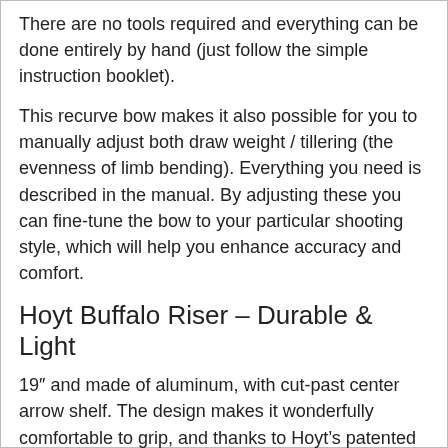There are no tools required and everything can be done entirely by hand (just follow the simple instruction booklet).
This recurve bow makes it also possible for you to manually adjust both draw weight / tillering (the evenness of limb bending). Everything you need is described in the manual. By adjusting these you can fine-tune the bow to your particular shooting style, which will help you enhance accuracy and comfort.
Hoyt Buffalo Riser – Durable & Light
19″ and made of aluminum, with cut-past center arrow shelf. The design makes it wonderfully comfortable to grip, and thanks to Hoyt's patented Paralever Limb Connection system (the same one used in their Olympic recurves), the whole bow construction is very sturdy and durable despite it being a take-down recurve. String groove silencers are also a part of the riser.
The Limbs – a Power House